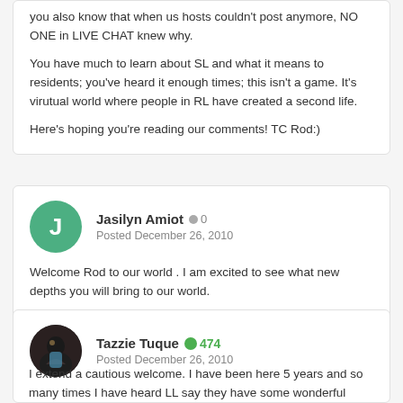you also know that when us hosts couldn't post anymore, NO ONE in LIVE CHAT knew why.

You have much to learn about SL and what it means to residents; you've heard it enough times; this isn't a game. It's virutual world where people in RL have created a second life.

Here's hoping you're reading our comments! TC Rod:)
Jasilyn Amiot • 0
Posted December 26, 2010

Welcome Rod to our world . I am excited to see what new depths you will bring to our world.
Tazzie Tuque ⊕ 474
Posted December 26, 2010

I extend a cautious welcome. I have been here 5 years and so many times I have heard LL say they have some wonderful